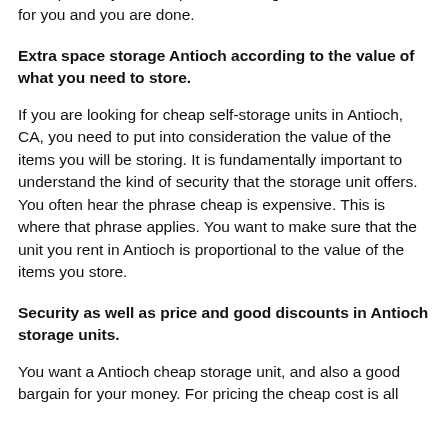the equation, just click, pick the storage units more suitable for you and you are done.
Extra space storage Antioch according to the value of what you need to store.
If you are looking for cheap self-storage units in Antioch, CA, you need to put into consideration the value of the items you will be storing. It is fundamentally important to understand the kind of security that the storage unit offers. You often hear the phrase cheap is expensive. This is where that phrase applies. You want to make sure that the unit you rent in Antioch is proportional to the value of the items you store.
Security as well as price and good discounts in Antioch storage units.
You want a Antioch cheap storage unit, and also a good bargain for your money. For pricing the cheap cost is all